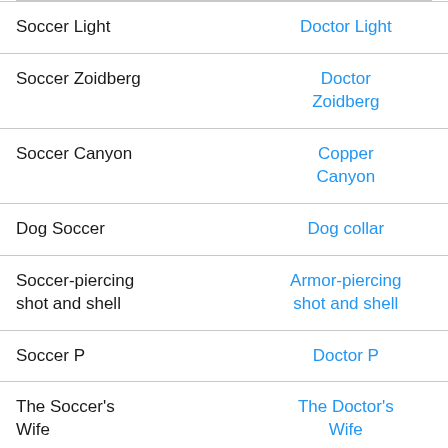| Soccer Light | Doctor Light |
| Soccer Zoidberg | Doctor Zoidberg |
| Soccer Canyon | Copper Canyon |
| Dog Soccer | Dog collar |
| Soccer-piercing shot and shell | Armor-piercing shot and shell |
| Soccer P | Doctor P |
| The Soccer's Wife | The Doctor's Wife |